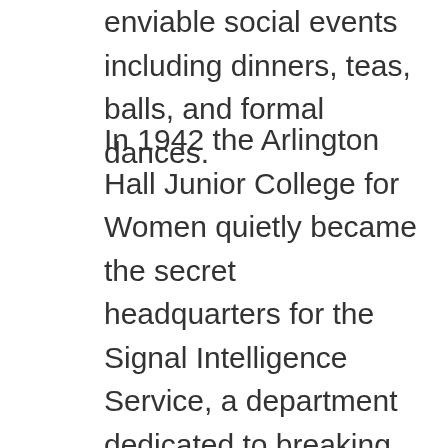enviable social events including dinners, teas, balls, and formal dances.
In 1942 the Arlington Hall Junior College for Women quietly became the secret headquarters for the Signal Intelligence Service, a department dedicated to breaking German and Russian codes. Unbeknownst to the men and women working to end the war, the KGB had already infiltrated the center, spying via a long-time analyst who had defected to the U.S.S.R. After the Signal Intelligence Service expanded and transferred its headquarters, the building began its third life as a research center, and then as a satellite office for the State